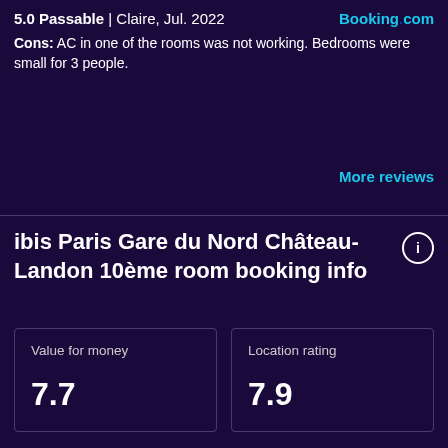5.0 Passable | Claire, Jul. 2022  Booking.com
Cons: AC in one of the rooms was not working. Bedrooms were small for 3 people.
More reviews
ibis Paris Gare du Nord Château-Landon 10ème room booking info
Value for money
7.7
Location rating
7.9